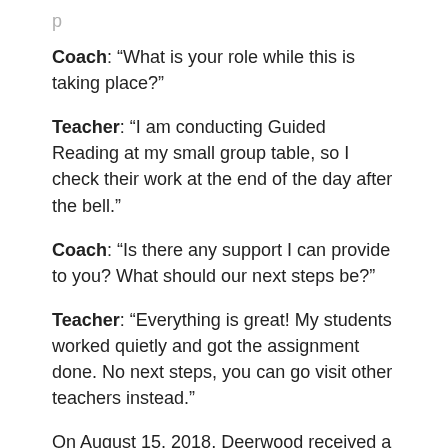Coach: “What is your role while this is taking place?”
Teacher: “I am conducting Guided Reading at my small group table, so I check their work at the end of the day after the bell.”
Coach: “Is there any support I can provide to you? What should our next steps be?”
Teacher: “Everything is great! My students worked quietly and got the assignment done. No next steps, you can go visit other teachers instead.”
On August 15, 2018, Deerwood received a surprise visit from the Chief of Staff of Osceola